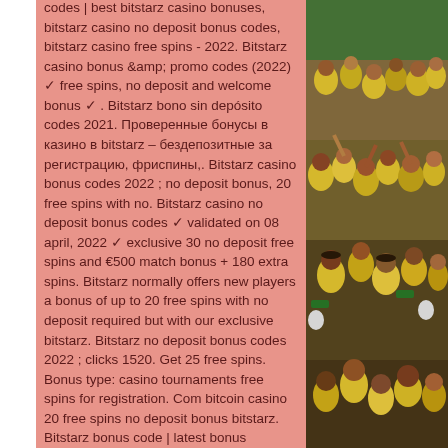codes | best bitstarz casino bonuses, bitstarz casino no deposit bonus codes, bitstarz casino free spins - 2022. Bitstarz casino bonus &amp;amp; promo codes (2022) ✓ free spins, no deposit and welcome bonus ✓ . Bitstarz bono sin depósito codes 2021. Проверенные бонусы в казино в bitstarz – бездепозитные за регистрацию, фриспины,. Bitstarz casino bonus codes 2022 ; no deposit bonus, 20 free spins with no. Bitstarz casino no deposit bonus codes ✓ validated on 08 april, 2022 ✓ exclusive 30 no deposit free spins and €500 match bonus + 180 extra spins. Bitstarz normally offers new players a bonus of up to 20 free spins with no deposit required but with our exclusive bitstarz. Bitstarz no deposit bonus codes 2022 ; clicks 1520. Get 25 free spins. Bonus type: casino tournaments free spins for registration. Com bitcoin casino 20 free spins no deposit bonus bitstarz. Bitstarz bonus code | latest bonus offersbitstarz
[Figure (photo): Crowd of sports fans wearing yellow and green jerseys, celebrating at a stadium event]